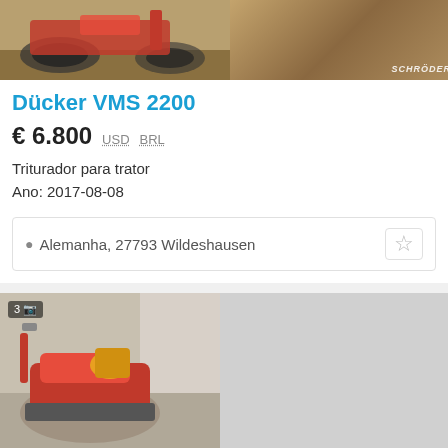[Figure (photo): Two photos of Dücker VMS 2200 tractor shredder attachment, partially visible, with SCHRÖDER watermark]
Dücker VMS 2200
€ 6.800  USD  BRL
Triturador para trator
Ano: 2017-08-08
Alemanha, 27793 Wildeshausen
[Figure (photo): Two photos of Dücker Ducker UMK 16V red flail mower, shown from different angles in a parking area]
Dücker Ducker UMK 16V
preço sob consulta